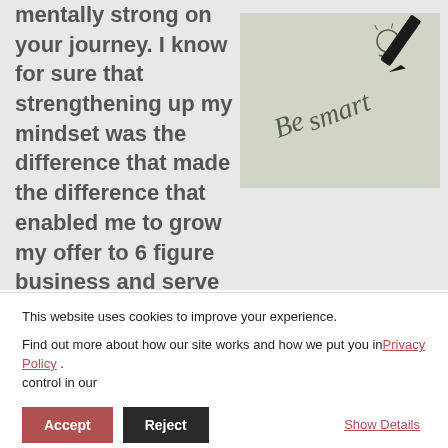mentally strong on your journey. I know for sure that strengthening up my mindset was the difference that made the difference that enabled me to grow my offer to 6 figure business and serve
[Figure (photo): A hand holding a pen writing 'Be smart' on paper with a lightbulb drawing, in black and white/sepia tones]
This website uses cookies to improve your experience.
Find out more about how our site works and how we put you in control in our Privacy Policy